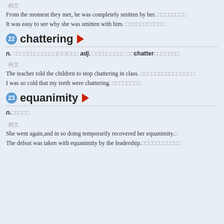例文 From the moment they met, he was completely smitten by her. [CJK text] It was easy to see why she was smitten with him. [CJK text]
22 chattering ▶
n. [CJK definition text](名詞)用法 adj. [CJK] chatter[CJK]
例文 The teacher told the children to stop chattering in class. [CJK] I was so cold that my teeth were chattering. [CJK]
23 equanimity ▶
n.[CJK text]
例文 She went again,and in so doing temporarily recovered her equanimity.[CJK] The defeat was taken with equanimity by the leadership.[CJK]